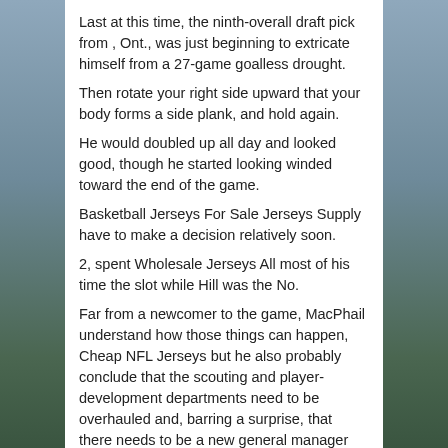Last at this time, the ninth-overall draft pick from , Ont., was just beginning to extricate himself from a 27-game goalless drought.
Then rotate your right side upward that your body forms a side plank, and hold again.
He would doubled up all day and looked good, though he started looking winded toward the end of the game.
Basketball Jerseys For Sale Jerseys Supply have to make a decision relatively soon.
2, spent Wholesale Jerseys All most of his time the slot while Hill was the No.
Far from a newcomer to the game, MacPhail understand how those things can happen, Cheap NFL Jerseys but he also probably conclude that the scouting and player-development departments need to be overhauled and, barring a surprise, that there needs to be a new general manager for the team to move forward Cheap NFL Jerseys Paypal with a clean slate.
Why might it be seven days or 10 days when it could simply be right now?